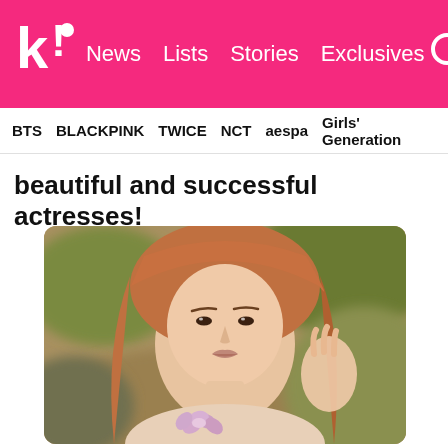K! News Lists Stories Exclusives
BTS BLACKPINK TWICE NCT aespa Girls' Generation
beautiful and successful actresses!
[Figure (photo): Close-up portrait of a young woman with auburn/copper wavy hair, brown eyes, holding light purple flowers near her chin, with a soft blurred outdoor background.]